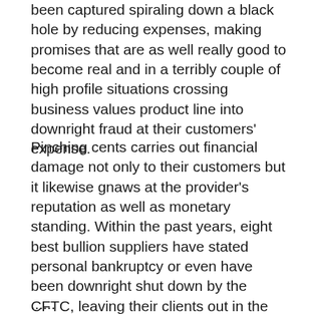been captured spiraling down a black hole by reducing expenses, making promises that are as well really good to become real and in a terribly couple of high profile situations crossing business values product line into downright fraud at their customers' expense.
Pinching cents carries out financial damage not only to their customers but it likewise gnaws at the provider's reputation as well as monetary standing. Within the past years, eight best bullion suppliers have stated personal bankruptcy or even have been downright shut down by the CFTC, leaving their clients out in the cold for millions of bucks and also locking up their metals in badly lengthy and pricey courthouse wars.
...